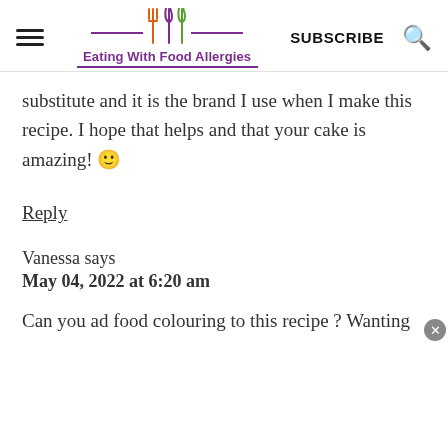Eating With Food Allergies | SUBSCRIBE
substitute and it is the brand I use when I make this recipe. I hope that helps and that your cake is amazing! 🙂
Reply
Vanessa says
May 04, 2022 at 6:20 am
Can you ad food colouring to this recipe ? Wanting to make it for my litte ones first birthday... Also would you have a dairy